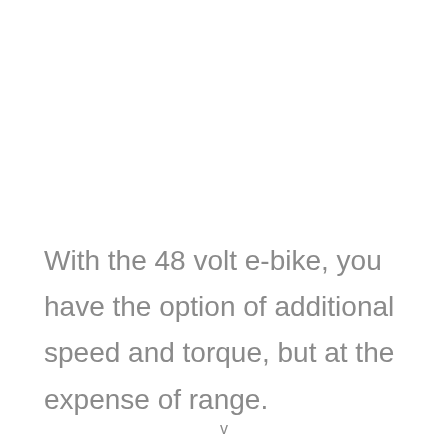With the 48 volt e-bike, you have the option of additional speed and torque, but at the expense of range.
v